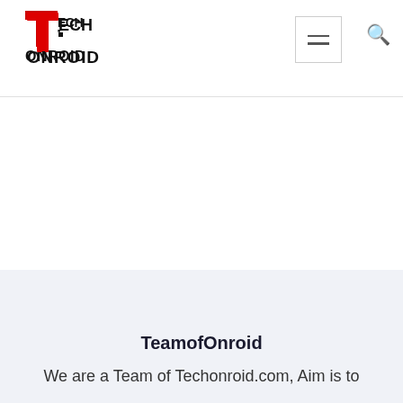TechOnroid navigation header with logo and hamburger menu
[Figure (logo): TechOnroid logo: large red T with black ECHONROID text in bold]
TeamofOnroid
We are a Team of Techonroid.com, Aim is to